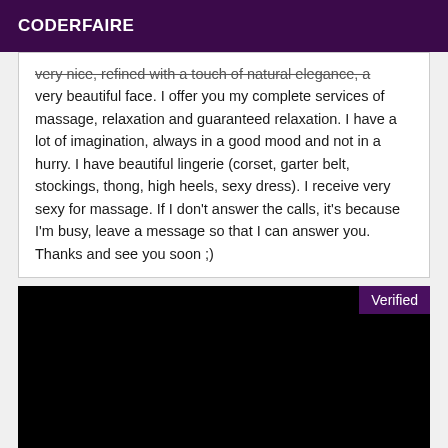CODERFAIRE
very nice, refined with a touch of natural elegance, a very beautiful face. I offer you my complete services of massage, relaxation and guaranteed relaxation. I have a lot of imagination, always in a good mood and not in a hurry. I have beautiful lingerie (corset, garter belt, stockings, thong, high heels, sexy dress). I receive very sexy for massage. If I don't answer the calls, it's because I'm busy, leave a message so that I can answer you. Thanks and see you soon ;)
[Figure (photo): Black image area with a 'Verified' badge in the top-right corner on a dark purple background]